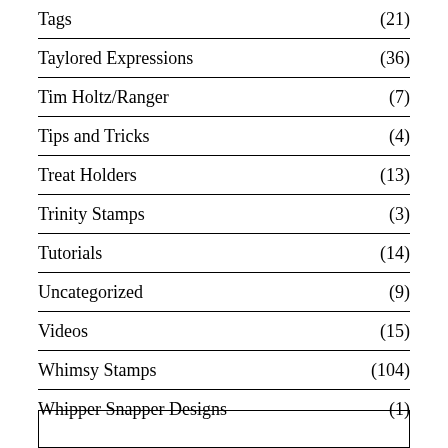Tags (21)
Taylored Expressions (36)
Tim Holtz/Ranger (7)
Tips and Tricks (4)
Treat Holders (13)
Trinity Stamps (3)
Tutorials (14)
Uncategorized (9)
Videos (15)
Whimsy Stamps (104)
Whipper Snapper Designs (1)
[Figure (other): Empty box at the bottom of the page]